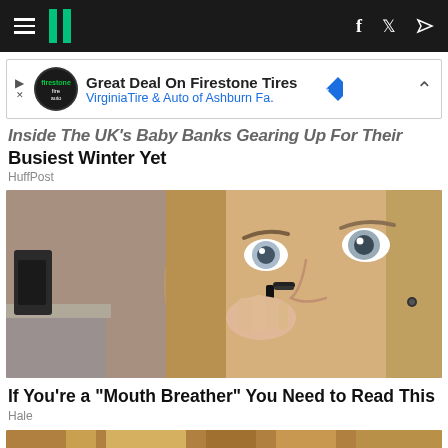HuffPost navigation bar with hamburger menu, logo, Facebook and Twitter icons
[Figure (other): Advertisement banner: Great Deal On Firestone Tires - Virginia Tire & Auto of Ashburn Fa.]
Inside The UK's Baby Banks Gearing Up For Their Busiest Winter Yet
HuffPost
[Figure (photo): Close-up photo of a blonde woman with wide grey/blue eyes holding a small black nose clip device to her nose]
If You're a "Mouth Breather" You Need to Read This
Hale
[Figure (photo): Partial image at bottom of page showing wooden tones, beginning of another article thumbnail]